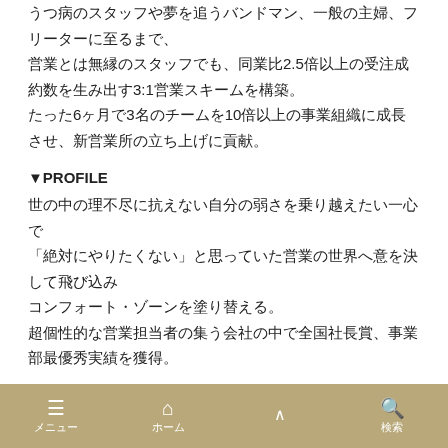うつ病のスタッフや夢を追うバンドマン、一般の主婦、フリーターに至るまで、営業とは無縁のスタッフでも、同業比2.5倍以上の受注成約数を生み出す3:1営業スキームを構築。たった6ヶ月で3名のチームを10倍以上の事業組織に成長させ、新営業所の立ち上げに貢献。
▼PROFILE
世の中の理不尽に抗えない自分の弱さを乗り越えたい一心で「絶対にやりたくない」と思っていた営業の世界へ意を決して飛び込みコンフォート・ゾーンを塗り替える。超個性的な営業担当者の集う会社の中で全国社長賞、事業部最優秀実績を獲得。
その後、営業代行、WEBマーケティング会社での経験を経て、ランチェスター戦略と出会い「現代のWEBマーケテ
メニュー　ホーム　　検索